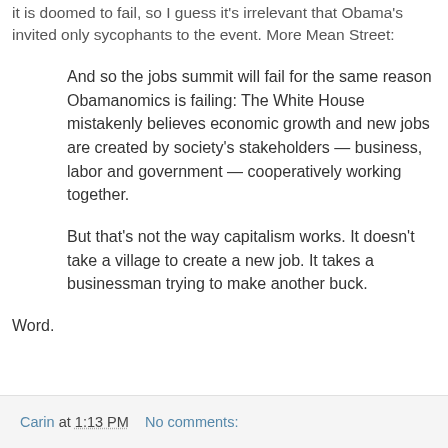it is doomed to fail, so I guess it's irrelevant that Obama's invited only sycophants to the event. More Mean Street:
And so the jobs summit will fail for the same reason Obamanomics is failing: The White House mistakenly believes economic growth and new jobs are created by society's stakeholders — business, labor and government — cooperatively working together.
But that's not the way capitalism works. It doesn't take a village to create a new job. It takes a businessman trying to make another buck.
Word.
Carin at 1:13 PM    No comments: